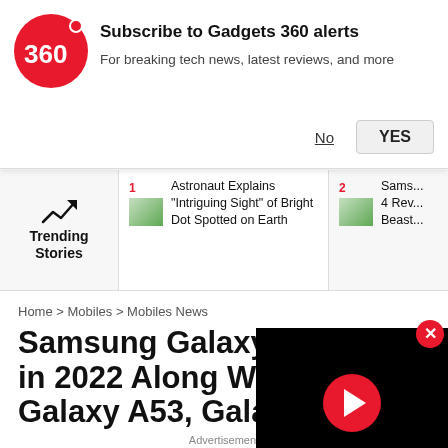[Figure (logo): Gadgets 360 red circle logo with '360' text]
Subscribe to Gadgets 360 alerts
For breaking tech news, latest reviews, and more
No   YES
[Figure (infographic): Trending Stories section with trending arrow icon and two story cards: 1. Astronaut Explains 'Intriguing Sight' of Bright Dot Spotted on Earth  2. Sams... 4 Rev... Beast...]
Home > Mobiles > Mobiles News
Samsung Galaxy A33 in 2022 Along With G Galaxy A53, Galaxy A
[Figure (screenshot): Black video player overlay with red play button]
Samsung Galaxy A33 is touted as the successor to the Galaxy A32.
Advertisement